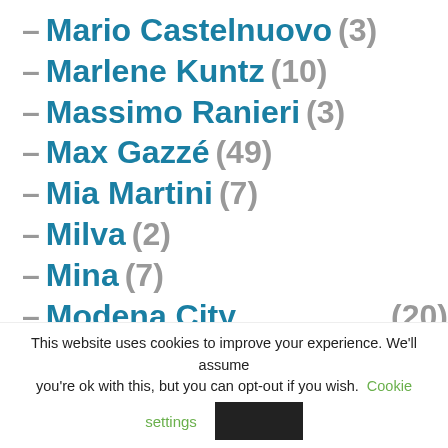– Mario Castelnuovo (3)
– Marlene Kuntz (10)
– Massimo Ranieri (3)
– Max Gazzé (49)
– Mia Martini (7)
– Milva (2)
– Mina (7)
– Modena City Ramblers (20)
This website uses cookies to improve your experience. We'll assume you're ok with this, but you can opt-out if you wish. Cookie settings